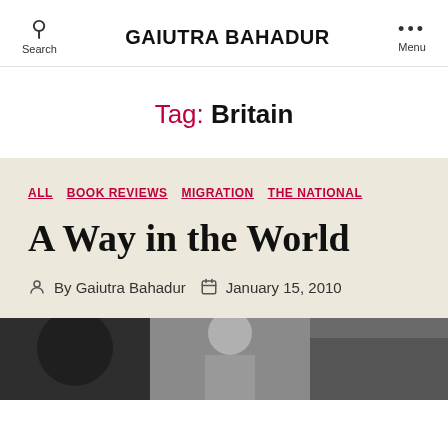GAIUTRA BAHADUR
Tag: Britain
ALL  BOOK REVIEWS  MIGRATION  THE NATIONAL
A Way in the World
By Gaiutra Bahadur   January 15, 2010
[Figure (photo): Black and white photograph showing two or three figures, partially visible, dark tones]